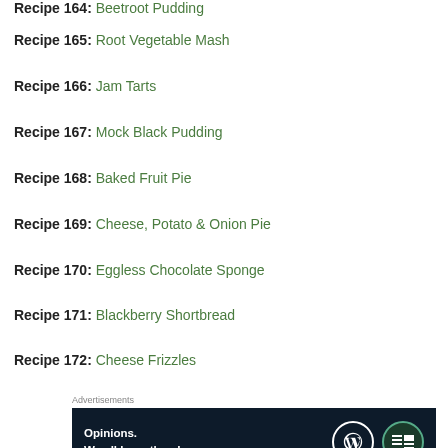Recipe 164: Beetroot Pudding
Recipe 165: Root Vegetable Mash
Recipe 166: Jam Tarts
Recipe 167: Mock Black Pudding
Recipe 168: Baked Fruit Pie
Recipe 169: Cheese, Potato & Onion Pie
Recipe 170: Eggless Chocolate Sponge
Recipe 171: Blackberry Shortbread
Recipe 172: Cheese Frizzles
Advertisements
[Figure (other): Advertisement banner: Opinions. We all have them! WordPress and News logo icons on dark navy background]